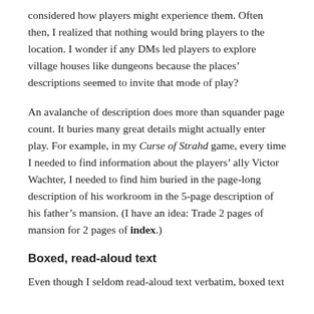considered how players might experience them. Often then, I realized that nothing would bring players to the location. I wonder if any DMs led players to explore village houses like dungeons because the places' descriptions seemed to invite that mode of play?
An avalanche of description does more than squander page count. It buries many great details might actually enter play. For example, in my Curse of Strahd game, every time I needed to find information about the players' ally Victor Wachter, I needed to find him buried in the page-long description of his workroom in the 5-page description of his father's mansion. (I have an idea: Trade 2 pages of mansion for 2 pages of index.)
Boxed, read-aloud text
Even though I seldom read-aloud text verbatim, boxed text